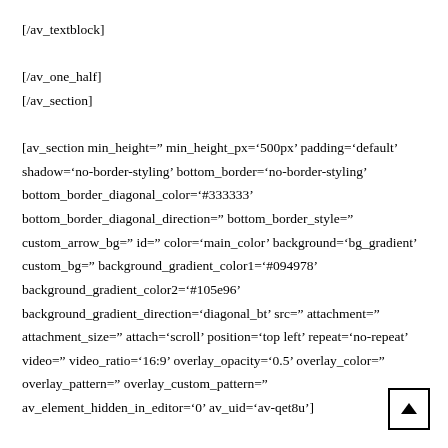[/av_textblock]

[/av_one_half]
[/av_section]

[av_section min_height=" min_height_px='500px' padding='default' shadow='no-border-styling' bottom_border='no-border-styling' bottom_border_diagonal_color='#333333' bottom_border_diagonal_direction=" bottom_border_style=" custom_arrow_bg=" id=" color='main_color' background='bg_gradient' custom_bg=" background_gradient_color1='#094978' background_gradient_color2='#105e96' background_gradient_direction='diagonal_bt' src=" attachment=" attachment_size=" attach='scroll' position='top left' repeat='no-repeat' video=" video_ratio='16:9' overlay_opacity='0.5' overlay_color=" overlay_pattern=" overlay_custom_pattern=" av_element_hidden_in_editor='0' av_uid='av-qet8u']